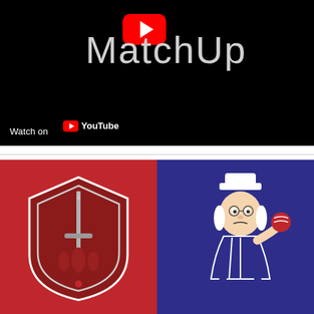[Figure (screenshot): YouTube video thumbnail showing 'MatchUp' title text with YouTube play button icon in red, on a black background. Bottom left shows 'Watch on YouTube' bar.]
[Figure (illustration): Split image: left half red background with a shield logo featuring a fleur-de-lis and sword (scout/sports team emblem); right half dark blue background with a cartoon colonial patriot mascot holding a ball.]